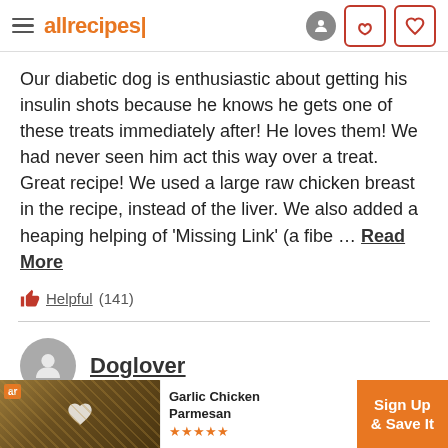allrecipes
Our diabetic dog is enthusiastic about getting his insulin shots because he knows he gets one of these treats immediately after! He loves them! We had never seen him act this way over a treat. Great recipe! We used a large raw chicken breast in the recipe, instead of the liver. We also added a heaping helping of 'Missing Link' (a fibe ... Read More
Helpful (141)
Doglover
★★★★☆ 02/17/2010
[Figure (screenshot): Ad banner: Garlic Chicken Parmesan with Sign Up & Save It CTA]